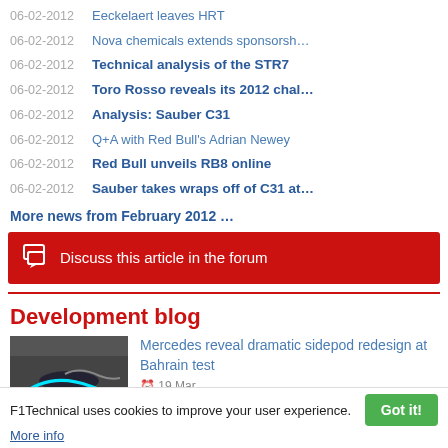06-02-2012   Eeckelaert leaves HRT
06-02-2012   Nova chemicals extends sponsorsh...
06-02-2012   Technical analysis of the STR7
06-02-2012   Toro Rosso reveals its 2012 chal...
06-02-2012   Analysis: Sauber C31
06-02-2012   Q+A with Red Bull's Adrian Newey
06-02-2012   Red Bull unveils RB8 online
06-02-2012   Sauber takes wraps off of C31 at...
More news from February 2012 ...
Discuss this article in the forum
Development blog
[Figure (photo): Mercedes F1 car sidepod photo thumbnail]
Mercedes reveal dramatic sidepod redesign at Bahrain test
19 Mar
F1Technical uses cookies to improve your user experience.
More info